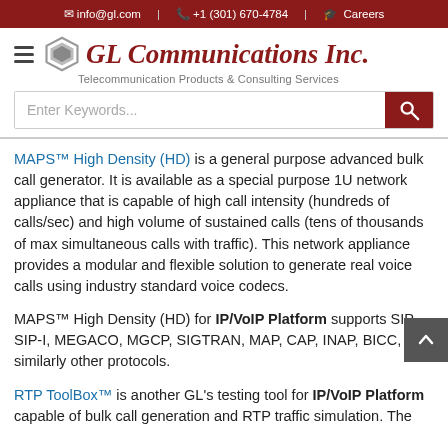info@gl.com | +1 (301) 670-4784 | Careers
GL Communications Inc. Telecommunication Products & Consulting Services
MAPS™ High Density (HD) is a general purpose advanced bulk call generator. It is available as a special purpose 1U network appliance that is capable of high call intensity (hundreds of calls/sec) and high volume of sustained calls (tens of thousands of max simultaneous calls with traffic). This network appliance provides a modular and flexible solution to generate real voice calls using industry standard voice codecs.
MAPS™ High Density (HD) for IP/VoIP Platform supports SIP, SIP-I, MEGACO, MGCP, SIGTRAN, MAP, CAP, INAP, BICC, and similarly other protocols.
RTP ToolBox™ is another GL's testing tool for IP/VoIP Platform capable of bulk call generation and RTP traffic simulation. The